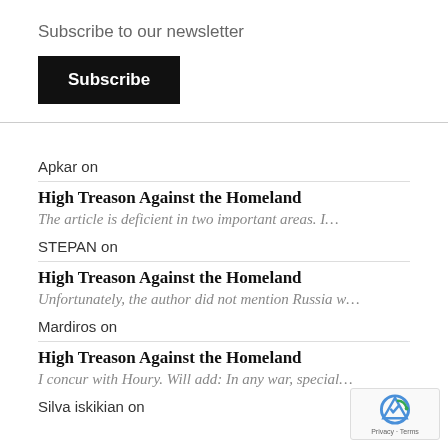Subscribe to our newsletter
Subscribe
Apkar on
High Treason Against the Homeland
The article is deficient in two important areas. I…
STEPAN on
High Treason Against the Homeland
Unfortunately, the author did not mention Russia w…
Mardiros on
High Treason Against the Homeland
I concur with Houry. Will add: In any war, special…
Silva iskikian on